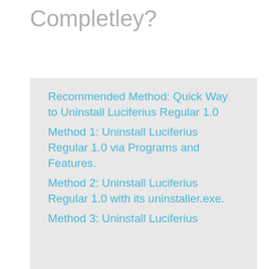Completley?
Recommended Method: Quick Way to Uninstall Luciferius Regular 1.0
Method 1: Uninstall Luciferius Regular 1.0 via Programs and Features.
Method 2: Uninstall Luciferius Regular 1.0 with its uninstaller.exe.
Method 3: Uninstall Luciferius